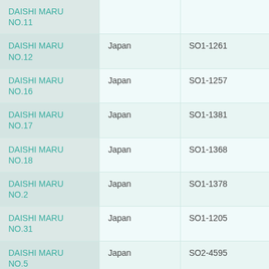| Vessel Name | Country | Code |
| --- | --- | --- |
| DAISHI MARU NO.11 |  |  |
| DAISHI MARU NO.12 | Japan | SO1-1261 |
| DAISHI MARU NO.16 | Japan | SO1-1257 |
| DAISHI MARU NO.17 | Japan | SO1-1381 |
| DAISHI MARU NO.18 | Japan | SO1-1368 |
| DAISHI MARU NO.2 | Japan | SO1-1378 |
| DAISHI MARU NO.31 | Japan | SO1-1205 |
| DAISHI MARU NO.5 | Japan | SO2-4595 |
| DAISHI MARU NO.7 | Japan | SO1-1277 |